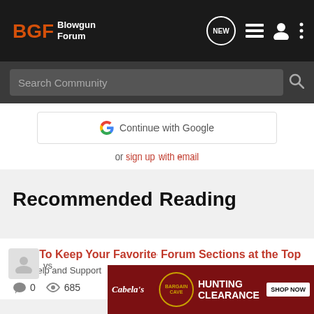BGF Blowgun Forum
Search Community
Continue with Google
or sign up with email
Recommended Reading
How To Keep Your Favorite Forum Sections at the Top
Site Help and Support
0  685
[Figure (screenshot): Cabela's Bargain Cave Hunting Clearance ad banner with Shop Now button]